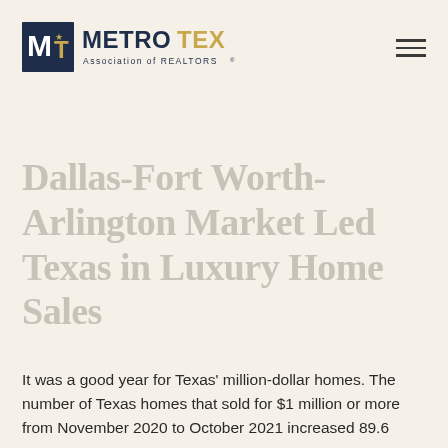[Figure (logo): MetroTex Association of REALTORS logo with M-T icon in navy and gold, text METROTEX in navy with TEX in gold, and Association of REALTORS in small text below]
Dallas-Fort Worth-Arlington Market Led Texas in Luxury Home Sales
It was a good year for Texas' million-dollar homes. The number of Texas homes that sold for $1 million or more from November 2020 to October 2021 increased 89.6